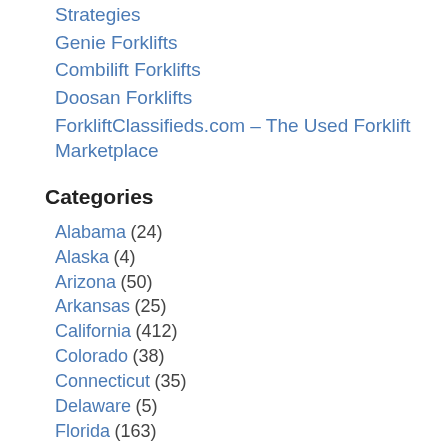Strategies
Genie Forklifts
Combilift Forklifts
Doosan Forklifts
ForkliftClassifieds.com – The Used Forklift Marketplace
Categories
Alabama (24)
Alaska (4)
Arizona (50)
Arkansas (25)
California (412)
Colorado (38)
Connecticut (35)
Delaware (5)
Florida (163)
Georgia (96)
Hawaii (2)